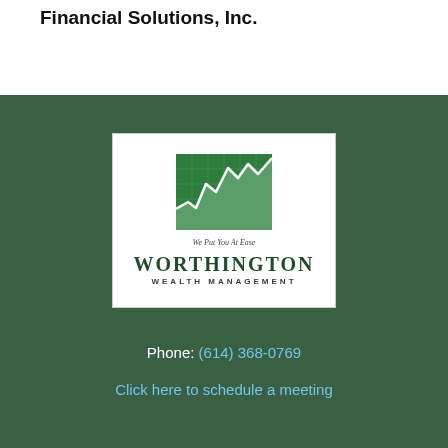Financial Solutions, Inc.
[Figure (logo): Worthington Wealth Management logo with green zigzag chart graphic, tagline 'We Put You At Ease', company name in large serif font]
Phone: (614) 368-0769
Click here to schedule a meeting